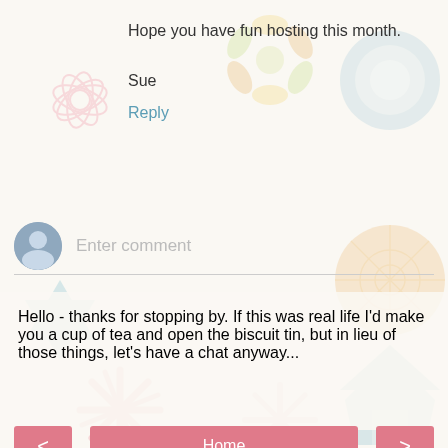Hope you have fun hosting this month.
Sue
Reply
[Figure (illustration): Decorative floral background with pastel pink, yellow, teal flowers and geometric patterns]
Enter comment
Hello - thanks for stopping by. If this was real life I'd make you a cup of tea and open the biscuit tin, but in lieu of those things, let's have a chat anyway...
Home
View web version
Unknown
View my complete profile